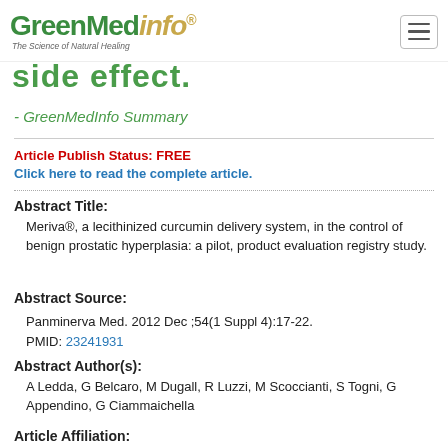GreenMedInfo - The Science of Natural Healing
side effect.
- GreenMedInfo Summary
Article Publish Status: FREE
Click here to read the complete article.
Abstract Title:
Meriva®, a lecithinized curcumin delivery system, in the control of benign prostatic hyperplasia: a pilot, product evaluation registry study.
Abstract Source:
Panminerva Med. 2012 Dec ;54(1 Suppl 4):17-22. PMID: 23241931
Abstract Author(s):
A Ledda, G Belcaro, M Dugall, R Luzzi, M Scoccianti, S Togni, G Appendino, G Ciammaichella
Article Affiliation: